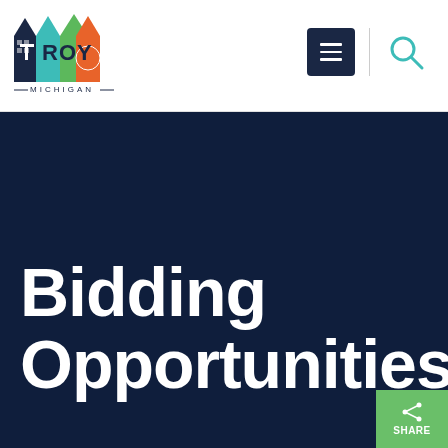[Figure (logo): Troy Michigan city logo — stylized house/building shapes in dark navy, teal, green, and orange, with 'TROY' text and 'MICHIGAN' below with decorative dashes]
[Figure (other): Navigation icons: dark navy hamburger menu button and teal search/magnifying glass icon]
Bidding Opportunities